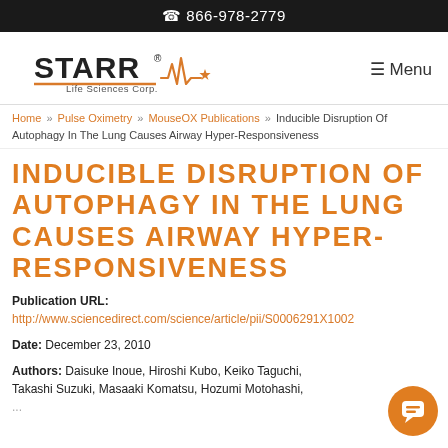866-978-2779
[Figure (logo): STARR Life Sciences Corp. logo with pulse/heartbeat line graphic]
≡ Menu
Home » Pulse Oximetry » MouseOX Publications » Inducible Disruption Of Autophagy In The Lung Causes Airway Hyper-Responsiveness
INDUCIBLE DISRUPTION OF AUTOPHAGY IN THE LUNG CAUSES AIRWAY HYPER-RESPONSIVENESS
Publication URL: http://www.sciencedirect.com/science/article/pii/S0006291X1002
Date: December 23, 2010
Authors: Daisuke Inoue, Hiroshi Kubo, Keiko Taguchi, Takashi Suzuki, Masaaki Komatsu, Hozumi Motohashi,